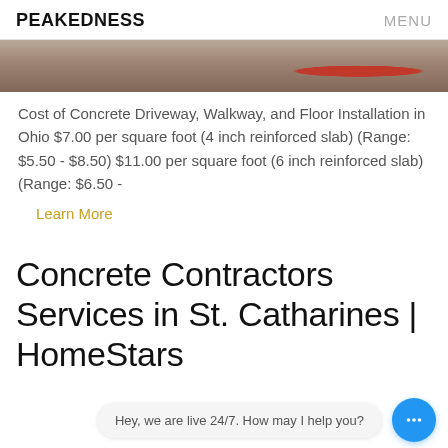PEAKEDNESS   MENU
[Figure (photo): Partial view of a concrete floor or slab with a red object visible, likely construction equipment or a stand.]
Cost of Concrete Driveway, Walkway, and Floor Installation in Ohio $7.00 per square foot (4 inch reinforced slab) (Range: $5.50 - $8.50) $11.00 per square foot (6 inch reinforced slab) (Range: $6.50 -
Learn More
Concrete Contractors Services in St. Catharines | HomeStars
Hey, we are live 24/7. How may I help you?